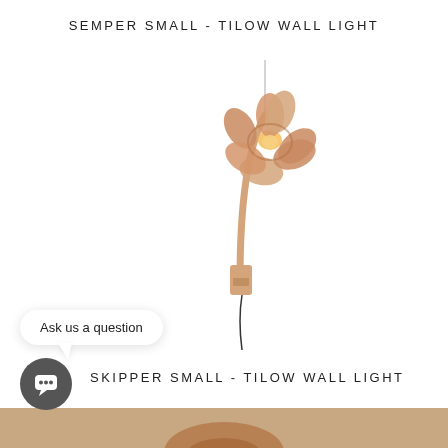SEMPER SMALL - TILOW WALL LIGHT
[Figure (photo): A flower-shaped wall lamp in rose gold/copper finish with petal-shaped shade, mounted on a curved arm with wall bracket, wire hanging down]
Ask us a question
SKIPPER SMALL - TILOW WALL LIGHT
[Figure (photo): Bottom strip showing the beginning of another product image in warm brown/copper tones]